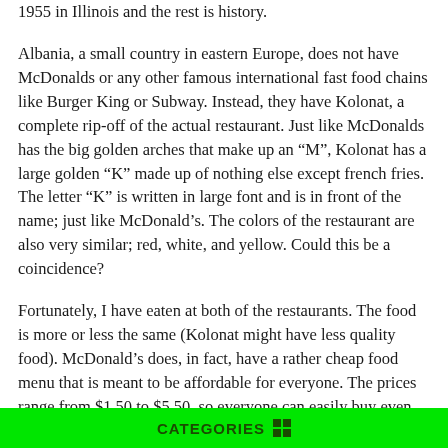1955 in Illinois and the rest is history.
Albania, a small country in eastern Europe, does not have McDonalds or any other famous international fast food chains like Burger King or Subway. Instead, they have Kolonat, a complete rip-off of the actual restaurant. Just like McDonalds has the big golden arches that make up an “M”, Kolonat has a large golden “K” made up of nothing else except french fries.  The letter “K” is written in large font and is in front of the name; just like McDonald’s. The colors of the restaurant are also very similar; red, white, and yellow. Could this be a coincidence?
Fortunately, I have eaten at both of the restaurants. The food is more or less the same (Kolonat might have less quality food). McDonald’s does, in fact, have a rather cheap food menu that is meant to be affordable for everyone. The prices range from $1.50 to $5.50, so everyone can easily buy even
CATEGORIES